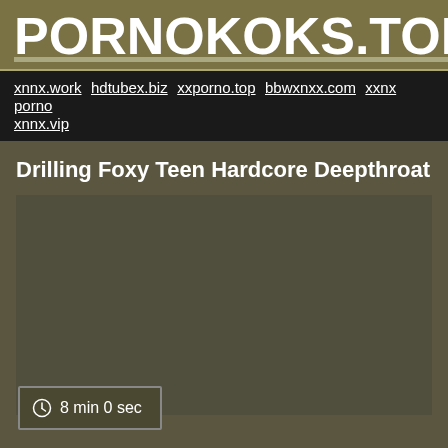PORNOKOKS.TOP
xnnx.work hdtubex.biz xxporno.top bbwxnxx.com xxnx porno xnnx.vip
Drilling Foxy Teen Hardcore Deepthroat
[Figure (other): Dark olive/khaki colored video player placeholder area]
8 min 0 sec